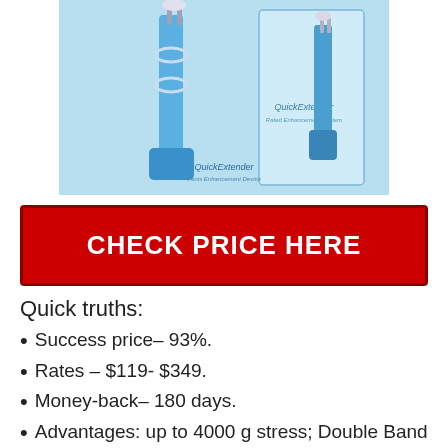[Figure (photo): Product photo of QuickExtender Pro device, blue medical/traction device shown in two views alongside its product box packaging]
CHECK PRICE HERE
Quick truths:
Success price– 93%.
Rates – $119- $349.
Money-back– 180 days.
Advantages: up to 4000 g stress; Double Band Support group; Memory • Comfort Pads.